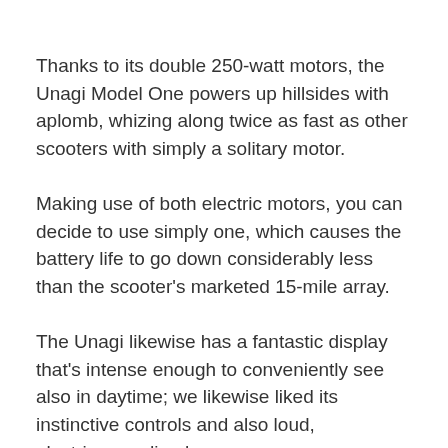Thanks to its double 250-watt motors, the Unagi Model One powers up hillsides with aplomb, whizing along twice as fast as other scooters with simply a solitary motor.
Making use of both electric motors, you can decide to use simply one, which causes the battery life to go down considerably less than the scooter's marketed 15-mile array.
The Unagi likewise has a fantastic display that's intense enough to conveniently see also in daytime; we likewise liked its instinctive controls and also loud, electric-sounding horn.